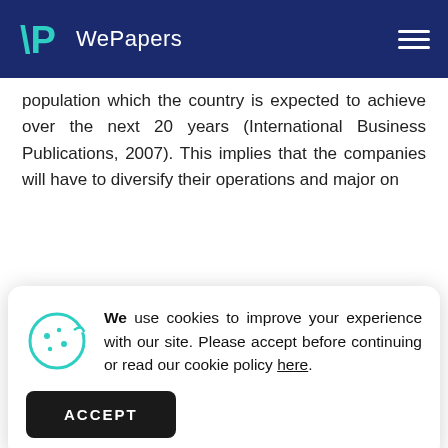WePapers
population which the country is expected to achieve over the next 20 years (International Business Publications, 2007). This implies that the companies will have to diversify their operations and major on
[Figure (screenshot): Cookie consent banner with cookie icon, text reading 'We use cookies to improve your experience with our site. Please accept before continuing or read our cookie policy here.' and an ACCEPT button]
industry and attract additional investors, such as Fitness For You.
In terms of government control, the industry attracts